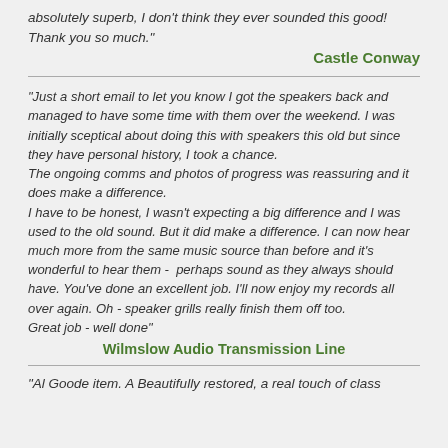absolutely superb, I don't think they ever sounded this good! Thank you so much."
Castle Conway
"Just a short email to let you know I got the speakers back and managed to have some time with them over the weekend. I was initially sceptical about doing this with speakers this old but since they have personal history, I took a chance.
The ongoing comms and photos of progress was reassuring and it does make a difference.
I have to be honest, I wasn't expecting a big difference and I was used to the old sound. But it did make a difference. I can now hear much more from the same music source than before and it's wonderful to hear them -  perhaps sound as they always should have. You've done an excellent job. I'll now enjoy my records all over again. Oh - speaker grills really finish them off too.
Great job - well done"
Wilmslow Audio Transmission Line
"Al Goode item. A Beautifully restored, a real touch of class